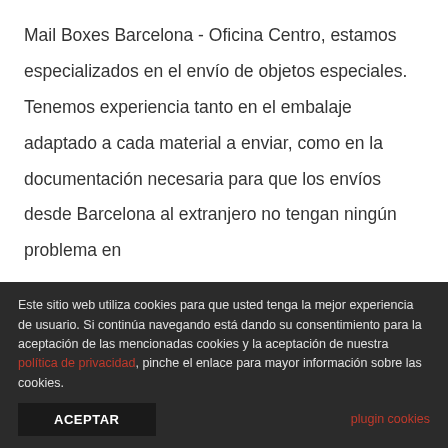Mail Boxes Barcelona - Oficina Centro, estamos especializados en el envío de objetos especiales. Tenemos experiencia tanto en el embalaje adaptado a cada material a enviar, como en la documentación necesaria para que los envíos desde Barcelona al extranjero no tengan ningún problema en
August 9th, 2022 | envíos de arte en Barcelona, Trámites aduaneros
Read More ›
Este sitio web utiliza cookies para que usted tenga la mejor experiencia de usuario. Si continúa navegando está dando su consentimiento para la aceptación de las mencionadas cookies y la aceptación de nuestra política de privacidad, pinche el enlace para mayor información sobre las cookies.
ACEPTAR
plugin cookies